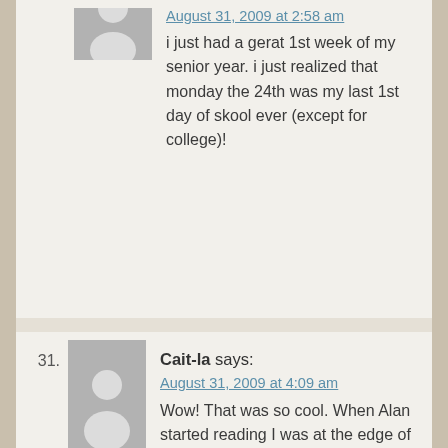August 31, 2009 at 2:58 am
i just had a gerat 1st week of my senior year. i just realized that monday the 24th was my last 1st day of skool ever (except for college)!
31. Cait-la says:
August 31, 2009 at 4:09 am
Wow! That was so cool. When Alan started reading I was at the edge of my seat. I could picture it so well, better than reading it from the Free Uglies download. There was only one thing that I thought was particularly interesting, I thought that Count Volgaur was more nasal than that. Oh, well. I guess that's